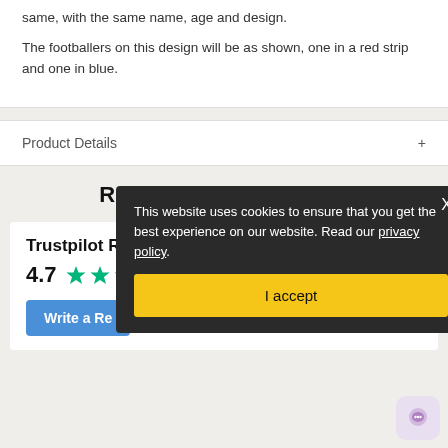same, with the same name, age and design.
The footballers on this design will be as shown, one in a red strip and one in blue.
Product Details
Reviews from Trustpilot
Trustpilot Rating
4.7
Write a Re...
This website uses cookies to ensure that you get the best experience on our website. Read our privacy policy.
I accept